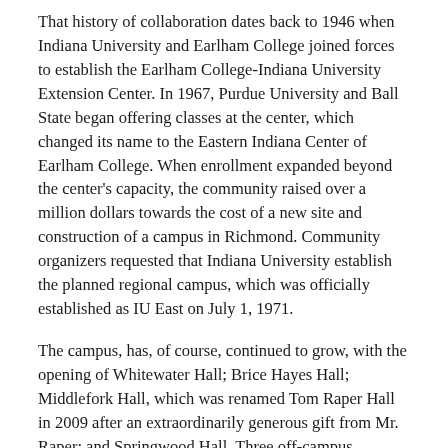That history of collaboration dates back to 1946 when Indiana University and Earlham College joined forces to establish the Earlham College-Indiana University Extension Center. In 1967, Purdue University and Ball State began offering classes at the center, which changed its name to the Eastern Indiana Center of Earlham College. When enrollment expanded beyond the center's capacity, the community raised over a million dollars towards the cost of a new site and construction of a campus in Richmond. Community organizers requested that Indiana University establish the planned regional campus, which was officially established as IU East on July 1, 1971.
The campus, has, of course, continued to grow, with the opening of Whitewater Hall; Brice Hayes Hall; Middlefork Hall, which was renamed Tom Raper Hall in 2009 after an extraordinarily generous gift from Mr. Raper; and Springwood Hall. Three off-campus instructional sites have also expanded the campus' educational reach.
Today, IU East is Indiana University's fastest growing campus. This fall, the campus enrolled a record 4,456 students, who are taking a